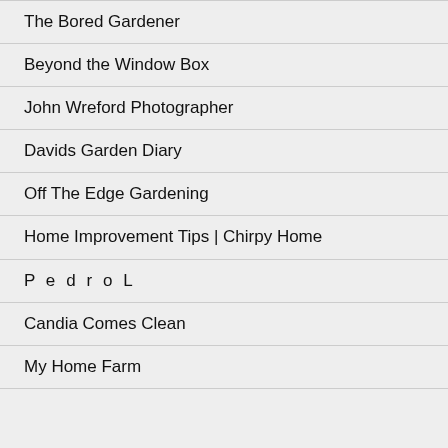The Bored Gardener
Beyond the Window Box
John Wreford Photographer
Davids Garden Diary
Off The Edge Gardening
Home Improvement Tips | Chirpy Home
P e d r o L
Candia Comes Clean
My Home Farm